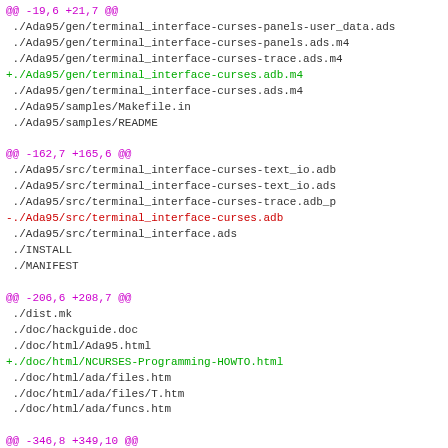@@ -19,6 +21,7 @@
 ./Ada95/gen/terminal_interface-curses-panels-user_data.ads
 ./Ada95/gen/terminal_interface-curses-panels.ads.m4
 ./Ada95/gen/terminal_interface-curses-trace.ads.m4
+./Ada95/gen/terminal_interface-curses.adb.m4
 ./Ada95/gen/terminal_interface-curses.ads.m4
 ./Ada95/samples/Makefile.in
 ./Ada95/samples/README

@@ -162,7 +165,6 @@
 ./Ada95/src/terminal_interface-curses-text_io.adb
 ./Ada95/src/terminal_interface-curses-text_io.ads
 ./Ada95/src/terminal_interface-curses-trace.adb_p
-./Ada95/src/terminal_interface-curses.adb
 ./Ada95/src/terminal_interface.ads
 ./INSTALL
 ./MANIFEST

@@ -206,6 +208,7 @@
 ./dist.mk
 ./doc/hackguide.doc
 ./doc/html/Ada95.html
+./doc/html/NCURSES-Programming-HOWTO.html
 ./doc/html/ada/files.htm
 ./doc/html/ada/files/T.htm
 ./doc/html/ada/funcs.htm

@@ -346,8 +349,10 @@
 ./doc/html/man/curs_instr.3x.html
 ./doc/html/man/curs_inwstr.3x.html
 ./doc/html/man/curs_kernel.3x.html
+./doc/html/man/curs_legacy.3x.html
 ./doc/html/man/curs_mouse.3x.html
 ./doc/html/man/curs_move.3x.html
+./doc/html/man/curs_opaque.3x.html